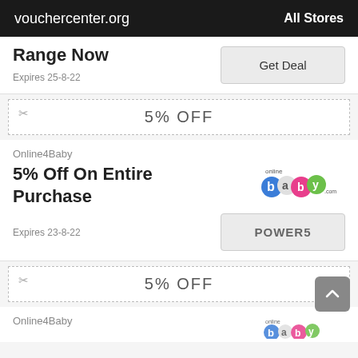vouchercenter.org    All Stores
Range Now
Expires 25-8-22
Get Deal
[Figure (other): Dashed coupon strip with scissors icon showing '5% OFF']
Online4Baby
5% Off On Entire Purchase
[Figure (logo): Online4Baby logo - text 'online4baby' with colorful circular letter styling]
Expires 23-8-22
POWER5
[Figure (other): Dashed coupon strip with scissors icon showing '5% OFF']
Online4Baby
[Figure (logo): Online4Baby logo partial - visible at bottom of page]